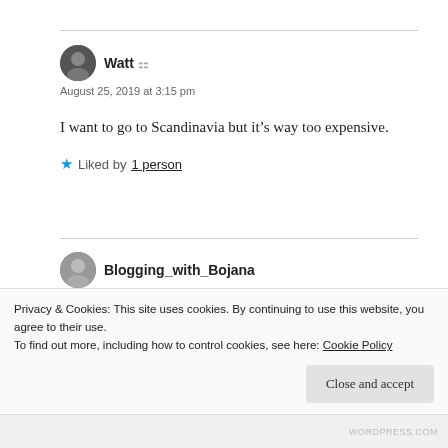Watt
August 25, 2019 at 3:15 pm
I want to go to Scandinavia but it's way too expensive.
Liked by 1 person
Blogging_with_Bojana
August 25, 2019 at 9:21 pm
Which is why I keep putting it off.
Privacy & Cookies: This site uses cookies. By continuing to use this website, you agree to their use. To find out more, including how to control cookies, see here: Cookie Policy
Close and accept